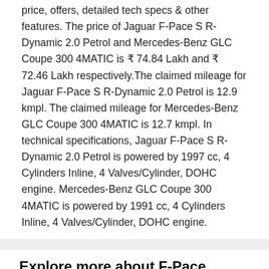price, offers, detailed tech specs & other features. The price of Jaguar F-Pace S R-Dynamic 2.0 Petrol and Mercedes-Benz GLC Coupe 300 4MATIC is ₹ 74.84 Lakh and ₹ 72.46 Lakh respectively.The claimed mileage for Jaguar F-Pace S R-Dynamic 2.0 Petrol is 12.9 kmpl. The claimed mileage for Mercedes-Benz GLC Coupe 300 4MATIC is 12.7 kmpl. In technical specifications, Jaguar F-Pace S R-Dynamic 2.0 Petrol is powered by 1997 cc, 4 Cylinders Inline, 4 Valves/Cylinder, DOHC engine. Mercedes-Benz GLC Coupe 300 4MATIC is powered by 1991 cc, 4 Cylinders Inline, 4 Valves/Cylinder, DOHC engine.
Explore more about F-Pace
[Figure (photo): Jaguar F-Pace car image shown in a product card alongside brand name, model name with arrow, and price]